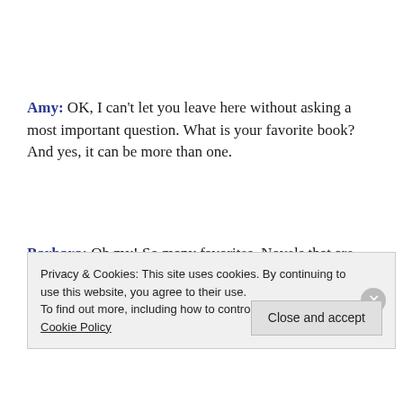Amy: OK, I can't let you leave here without asking a most important question. What is your favorite book? And yes, it can be more than one.
Barbara: Oh my! So many favorites. Novels that are special to me include Patricia McKillip's lovely Riddle of Stars series, which finally came back into print a couple years ago; Pynchon's Gravity's Rainbow, in part because
Privacy & Cookies: This site uses cookies. By continuing to use this website, you agree to their use.
To find out more, including how to control cookies, see here: Cookie Policy